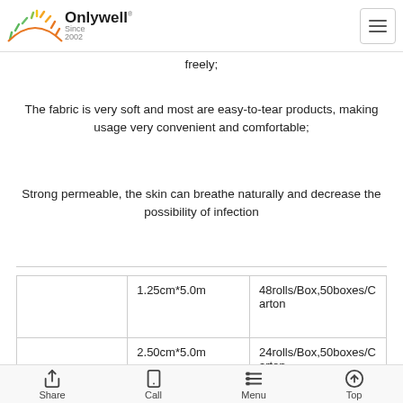Onlywell Since 2002
freely;
The fabric is very soft and most are easy-to-tear products, making usage very convenient and comfortable;
Strong permeable, the skin can breathe naturally and decrease the possibility of infection
|  | 1.25cm*5.0m | 48rolls/Box,50boxes/Carton |
|  | 2.50cm*5.0m | 24rolls/Box,50boxes/Carton |
|  | 1.25cm*5.0yds | 48rolls/Box,50boxes/C... |
Share  Call  Menu  Top